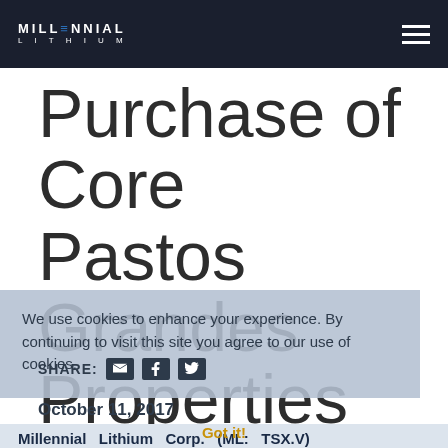MILLENNIAL LITHIUM
Purchase of Core Pastos Grandes Properties
We use cookies to enhance your experience. By continuing to visit this site you agree to our use of cookies.
SHARE:
October 11, 2017
Got it!
Millennial Lithium Corp. (ML: TSX.V)